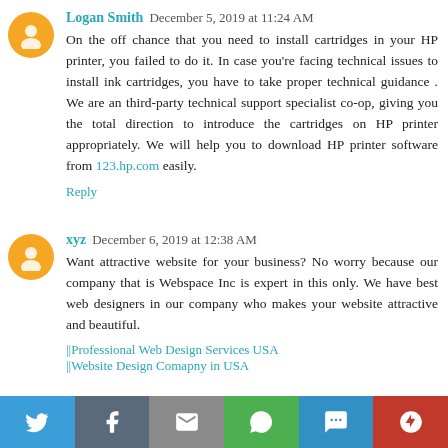Logan Smith  December 5, 2019 at 11:24 AM
On the off chance that you need to install cartridges in your HP printer, you failed to do it. In case you're facing technical issues to install ink cartridges, you have to take proper technical guidance . We are an third-party technical support specialist co-op, giving you the total direction to introduce the cartridges on HP printer appropriately. We will help you to download HP printer software from 123.hp.com easily.
Reply
xyz  December 6, 2019 at 12:38 AM
Want attractive website for your business? No worry because our company that is Webspace Inc is expert in this only. We have best web designers in our company who makes your website attractive and beautiful.
||Professional Web Design Services USA
||Website Design Comapny in USA